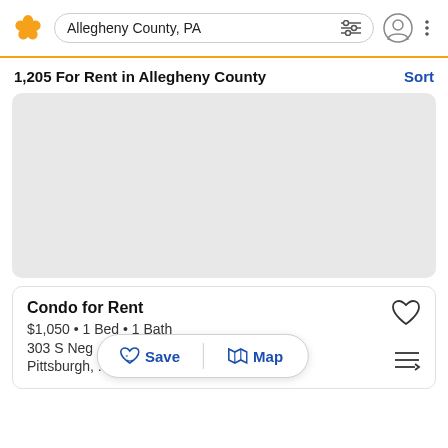[Figure (screenshot): Realtor.com mobile app logo — orange pinwheel/flower icon]
Allegheny County, PA
1,205 For Rent in Allegheny County
Sort
[Figure (map): Map area placeholder shown as a light gray rectangle]
Condo for Rent
$1,050 • 1 Bed • 1 Bath
303 S Neg
Pittsburgh, ...
Save
Map